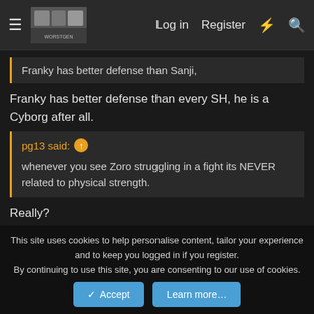Log in  Register
Franky has better defense than Sanji,
Franky has better defense than every SH, he is a Cyborg after all.
pg13 said: whenever you see Zoro struggling in a fight its NEVER related to physical strength.
Really?
Spoiler
I guess Zoro is not very good at blocking attacks either.
Luffy gets overpowered in his fights many times - but you are
This site uses cookies to help personalise content, tailor your experience and to keep you logged in if you register.
By continuing to use this site, you are consenting to our use of cookies.